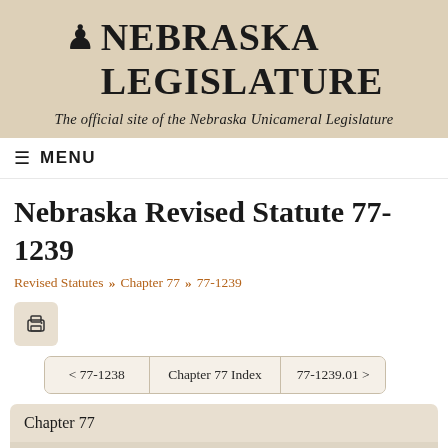[Figure (logo): Nebraska Legislature logo with chess piece icon and text 'NEBRASKA LEGISLATURE']
The official site of the Nebraska Unicameral Legislature
≡ MENU
Nebraska Revised Statute 77-1239
Revised Statutes » Chapter 77 » 77-1239
[Figure (other): Print button icon]
< 77-1238   Chapter 77 Index   77-1239.01 >
Chapter 77